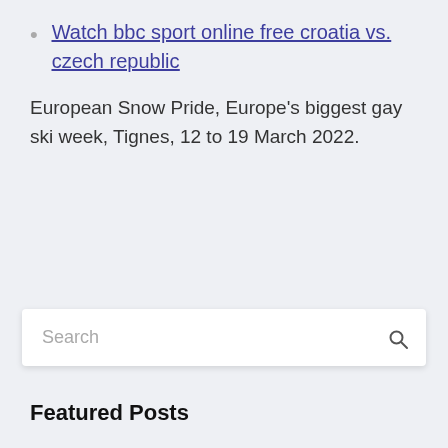Watch bbc sport online free croatia vs. czech republic
European Snow Pride, Europe's biggest gay ski week, Tignes, 12 to 19 March 2022.
Search
Featured Posts